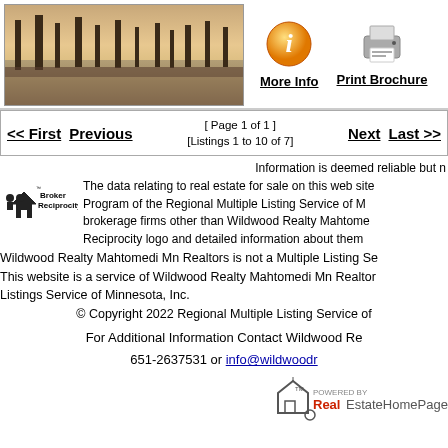[Figure (photo): Outdoor landscape photo showing trees and a misty lake/water scene at dusk or dawn]
[Figure (illustration): More Info button with orange info icon]
[Figure (illustration): Print Brochure button with printer icon]
[ Page 1 of 1 ] [Listings 1 to 10 of 7]
<< First  Previous
Next  Last >>
Information is deemed reliable but n
The data relating to real estate for sale on this web site comes in part from the Broker Reciprocity Program of the Regional Multiple Listing Service of M brokerage firms other than Wildwood Realty Mahtome Reciprocity logo and detailed information about them
[Figure (logo): Broker Reciprocity logo - house with people icon and text]
Wildwood Realty Mahtomedi Mn Realtors is not a Multiple Listing S This website is a service of Wildwood Realty Mahtomedi Mn Realtor Listings Service of Minnesota, Inc.
© Copyright 2022 Regional Multiple Listing Service of
For Additional Information Contact Wildwood Re 651-2637531 or info@wildwoodr
[Figure (logo): RealEstateHomePages.com POWERED BY logo at bottom right]